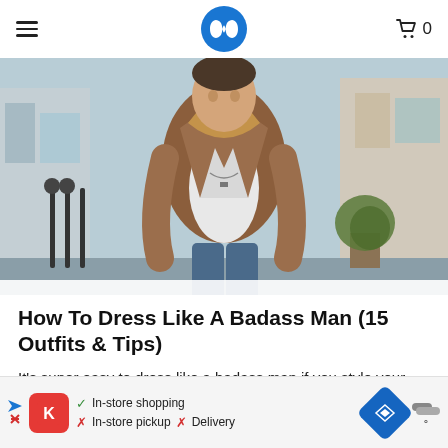Navigation header with hamburger menu, logo, and cart icon (0)
[Figure (photo): A young man wearing a brown suede jacket over a white t-shirt and jeans, standing on a street with iron railings and a building in the background.]
How To Dress Like A Badass Man (15 Outfits & Tips)
It's super easy to dress like a badass man if you style your clothes, shoes, and accessories uniquely and fashionably.
[Figure (infographic): Advertisement banner: In-store shopping (checkmark), In-store pickup X, Delivery X. Red logo icon, blue navigation diamond icon, weather widget.]